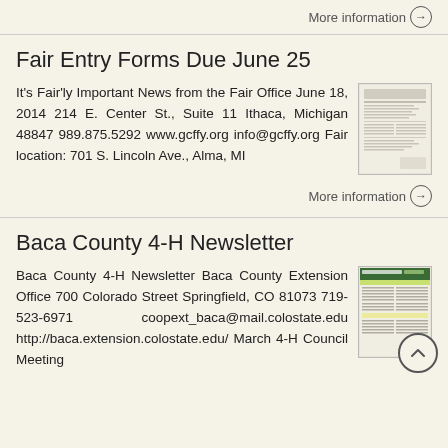More information →
Fair Entry Forms Due June 25
It's Fair'ly Important News from the Fair Office June 18, 2014 214 E. Center St., Suite 11 Ithaca, Michigan 48847 989.875.5292 www.gcffy.org info@gcffy.org Fair location: 701 S. Lincoln Ave., Alma, MI
[Figure (photo): Thumbnail of a document page showing a newsletter or form layout]
More information →
Baca County 4-H Newsletter
Baca County 4-H Newsletter Baca County Extension Office 700 Colorado Street Springfield, CO 81073 719-523-6971 coopext_baca@mail.colostate.edu http://baca.extension.colostate.edu/ March 4-H Council Meeting
[Figure (photo): Thumbnail of a newsletter with green/yellow header and text columns]